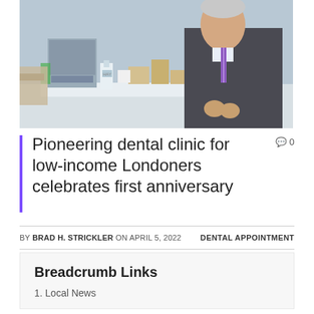[Figure (photo): Photo of a man in a dark suit with a purple striped tie standing in a dental clinic office with equipment and supplies visible in the background.]
Pioneering dental clinic for low-income Londoners celebrates first anniversary
BY BRAD H. STRICKLER ON APRIL 5, 2022   DENTAL APPOINTMENT
Breadcrumb Links
1. Local News